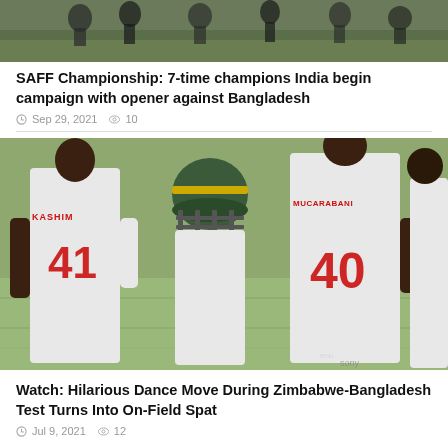[Figure (photo): Sports photo showing athletes running on a field, cropped at top]
SAFF Championship: 7-time champions India begin campaign with opener against Bangladesh
Sep 29, 2021   10
[Figure (photo): Cricket photo showing Zimbabwe players with jersey numbers 41 and 40 (Mucarabani), and a Bangladesh batsman with helmet between them]
Watch: Hilarious Dance Move During Zimbabwe-Bangladesh Test Turns Into On-Field Spat
Jul 9, 2021   12